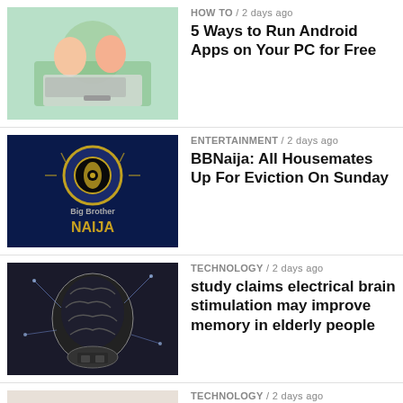HOW TO / 2 days ago — 5 Ways to Run Android Apps on Your PC for Free
ENTERTAINMENT / 2 days ago — BBNaija: All Housemates Up For Eviction On Sunday
TECHNOLOGY / 2 days ago — study claims electrical brain stimulation may improve memory in elderly people
TECHNOLOGY / 2 days ago — How to update as Apple issues security alert
[Figure (other): Ad bar with X close button]
SPORTS / 2 days ago — Chelsea player to blame for Leeds United defeat – Ikpeba